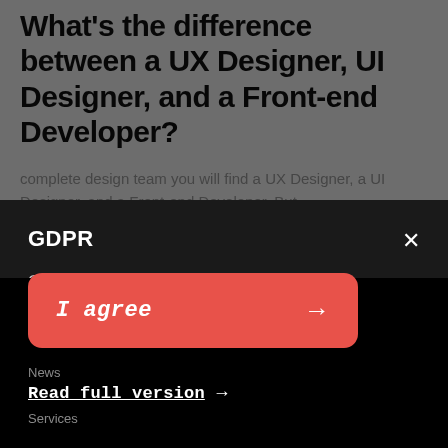What’s the difference between a UX Designer, UI Designer, and a Front-end Developer?
complete design team you will find a UX Designer, a UI Designer, and a Front-end Developer. But
GDPR
Our site uses cookies so that we can remember you and understand how you use our site. If you do not agree with our use of cookies, please change the current settings in your privacy preferences. You can also read more about cookies and similar technologies here. Otherwise, you agree to the use of the cookies as they are currently set.
I agree
News
Read full version
Services